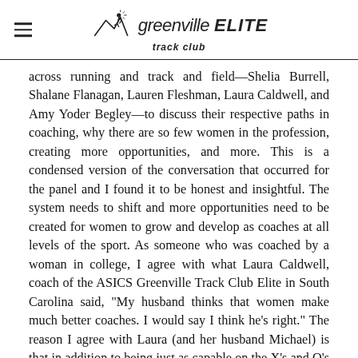greenville ELITE track club
across running and track and field—Shelia Burrell, Shalane Flanagan, Lauren Fleshman, Laura Caldwell, and Amy Yoder Begley—to discuss their respective paths in coaching, why there are so few women in the profession, creating more opportunities, and more. This is a condensed version of the conversation that occurred for the panel and I found it to be honest and insightful. The system needs to shift and more opportunities need to be created for women to grow and develop as coaches at all levels of the sport. As someone who was coached by a woman in college, I agree with what Laura Caldwell, coach of the ASICS Greenville Track Club Elite in South Carolina said, "My husband thinks that women make much better coaches. I would say I think he's right." The reason I agree with Laura (and her husband Michael) is that in addition to being just as capable on the X's and O's side of things, women generally tend to be more patient.